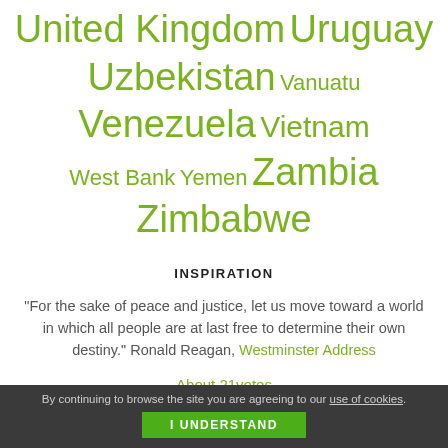United Kingdom Uruguay Uzbekistan Vanuatu Venezuela Vietnam West Bank Yemen Zambia Zimbabwe
INSPIRATION
“For the sake of peace and justice, let us move toward a world in which all people are at last free to determine their own destiny.” Ronald Reagan, Westminster Address
About 21votes
Privacy and Cookies Policy
By continuing to browse the site you are agreeing to our use of cookies. I UNDERSTAND